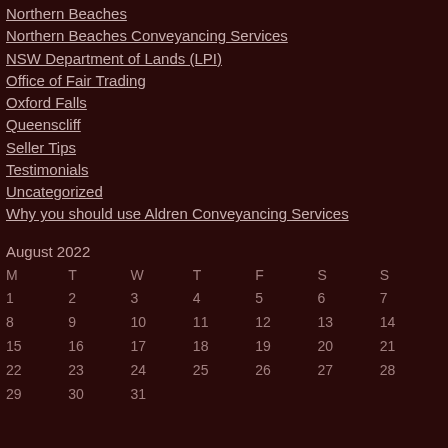Northern Beaches
Northern Beaches Conveyancing Services
NSW Department of Lands (LPI)
Office of Fair Trading
Oxford Falls
Queenscliff
Seller Tips
Testimonials
Uncategorized
Why you should use Aldren Conveyancing Services
August 2022
| M | T | W | T | F | S | S |
| --- | --- | --- | --- | --- | --- | --- |
| 1 | 2 | 3 | 4 | 5 | 6 | 7 |
| 8 | 9 | 10 | 11 | 12 | 13 | 14 |
| 15 | 16 | 17 | 18 | 19 | 20 | 21 |
| 22 | 23 | 24 | 25 | 26 | 27 | 28 |
| 29 | 30 | 31 |  |  |  |  |